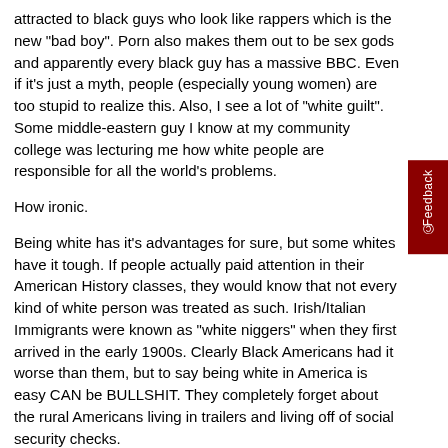attracted to black guys who look like rappers which is the new "bad boy". Porn also makes them out to be sex gods and apparently every black guy has a massive BBC. Even if it's just a myth, people (especially young women) are too stupid to realize this. Also, I see a lot of "white guilt". Some middle-eastern guy I know at my community college was lecturing me how white people are responsible for all the world's problems.
How ironic.
Being white has it's advantages for sure, but some whites have it tough. If people actually paid attention in their American History classes, they would know that not every kind of white person was treated as such. Irish/Italian Immigrants were known as "white niggers" when they first arrived in the early 1900s. Clearly Black Americans had it worse than them, but to say being white in America is easy CAN be BULLSHIT. They completely forget about the rural Americans living in trailers and living off of social security checks.
Now most news outlets are saying that Kyle Rittenhouse got away with "mUrDeRiNg iNnOcEnT pEoPlE bEcAuSE hE's W H I T E".